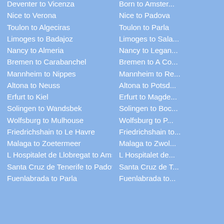Deventer to Vicenza
Nice to Verona
Toulon to Algeciras
Limoges to Badajoz
Nancy to Almeria
Bremen to Carabanchel
Mannheim to Nippes
Altona to Neuss
Erfurt to Kiel
Solingen to Wandsbek
Wolfsburg to Mulhouse
Friedrichshain to Le Havre
Malaga to Zoetermeer
L Hospitalet de Llobregat to Amsterdam
Santa Cruz de Tenerife to Padova
Fuenlabrada to Parla
Born to Amsterdam
Nice to Padova
Toulon to Parla
Limoges to Sala
Nancy to Leganés
Bremen to A Coruña
Mannheim to Regensburg
Altona to Potsdam
Erfurt to Magdeburg
Solingen to Bochum
Wolfsburg to Pforzheim
Friedrichshain to ...
Malaga to Zwolle
L Hospitalet de ...
Santa Cruz de T...
Fuenlabrada to ...